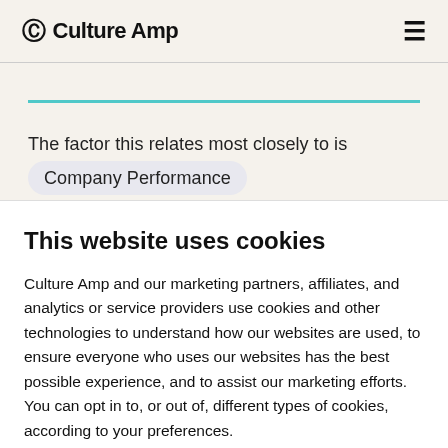Culture Amp
The factor this relates most closely to is Company Performance
This website uses cookies
Culture Amp and our marketing partners, affiliates, and analytics or service providers use cookies and other technologies to understand how our websites are used, to ensure everyone who uses our websites has the best possible experience, and to assist our marketing efforts. You can opt in to, or out of, different types of cookies, according to your preferences.
Accept all cookies
Manage preferences